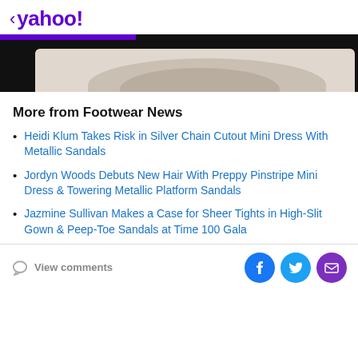< yahoo!
[Figure (photo): Partial image of a food dish (appears to be oatmeal or grain dish in a bowl) against a black background, partially cropped]
More from Footwear News
Heidi Klum Takes Risk in Silver Chain Cutout Mini Dress With Metallic Sandals
Jordyn Woods Debuts New Hair With Preppy Pinstripe Mini Dress & Towering Metallic Platform Sandals
Jazmine Sullivan Makes a Case for Sheer Tights in High-Slit Gown & Peep-Toe Sandals at Time 100 Gala
View comments